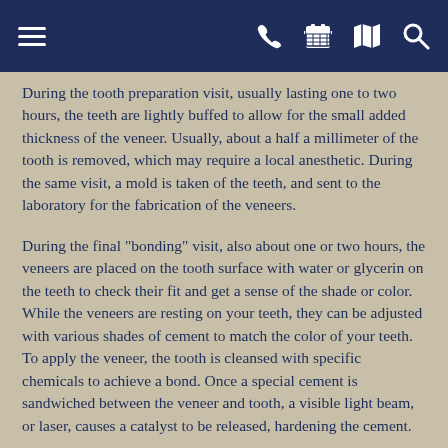Navigation header with menu, phone, calendar, map, search icons
During the tooth preparation visit, usually lasting one to two hours, the teeth are lightly buffed to allow for the small added thickness of the veneer. Usually, about a half a millimeter of the tooth is removed, which may require a local anesthetic. During the same visit, a mold is taken of the teeth, and sent to the laboratory for the fabrication of the veneers.
During the final "bonding" visit, also about one or two hours, the veneers are placed on the tooth surface with water or glycerin on the teeth to check their fit and get a sense of the shade or color. While the veneers are resting on your teeth, they can be adjusted with various shades of cement to match the color of your teeth. To apply the veneer, the tooth is cleansed with specific chemicals to achieve a bond. Once a special cement is sandwiched between the veneer and tooth, a visible light beam, or laser, causes a catalyst to be released, hardening the cement.
During a two-week period of adjustment that follows, you may notice the change of size and shape in your teeth. It is important to brush and floss daily. After one or two weeks, you`ll return for a follow-up appointment, to make sure everything is going well.